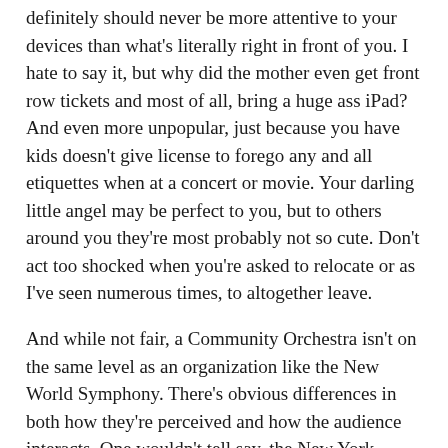definitely should never be more attentive to your devices than what's literally right in front of you. I hate to say it, but why did the mother even get front row tickets and most of all, bring a huge ass iPad? And even more unpopular, just because you have kids doesn't give license to forego any and all etiquettes when at a concert or movie. Your darling little angel may be perfect to you, but to others around you they're most probably not so cute. Don't act too shocked when you're asked to relocate or as I've seen numerous times, to altogether leave.
And while not fair, a Community Orchestra isn't on the same level as an organization like the New World Symphony. There's obvious differences in both how they're perceived and how the audience interacts. One wouldn't tell say, the New York Philharmonic to just deal with kids talking or crying all throughout a performance, or expect any major organization to just deal with the parents inability or unwillingness to show any control over their younglings. On the same side, just because it's an amateur orchestra still doesn't mean people should forget manners.